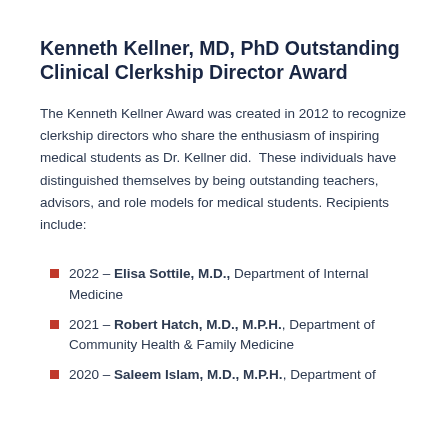Kenneth Kellner, MD, PhD Outstanding Clinical Clerkship Director Award
The Kenneth Kellner Award was created in 2012 to recognize clerkship directors who share the enthusiasm of inspiring medical students as Dr. Kellner did.  These individuals have distinguished themselves by being outstanding teachers, advisors, and role models for medical students. Recipients include:
2022 – Elisa Sottile, M.D., Department of Internal Medicine
2021 – Robert Hatch, M.D., M.P.H., Department of Community Health & Family Medicine
2020 – Saleem Islam, M.D., M.P.H., Department of